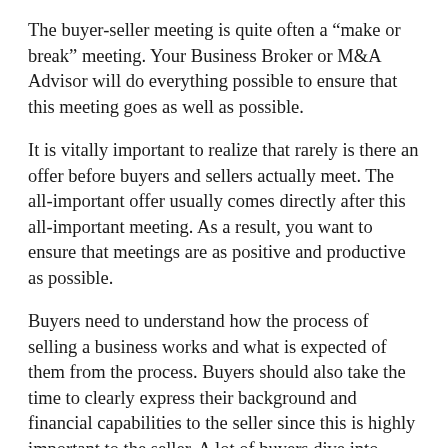The buyer-seller meeting is quite often a “make or break” meeting. Your Business Broker or M&A Advisor will do everything possible to ensure that this meeting goes as well as possible.
It is vitally important to realize that rarely is there an offer before buyers and sellers actually meet. The all-important offer usually comes directly after this all-important meeting. As a result, you want to ensure that meetings are as positive and productive as possible.
Buyers need to understand how the process of selling a business works and what is expected of them from the process. Buyers should also take the time to clearly express their background and financial capabilities to the seller since this is highly important to the seller. A lot of buyers dive into questions on the business without discussing their qualifications first. As sellers get more comfortable with buyers and a rapport is built, they will be more willing to share information and provide better terms. Buyers also need to understand that following their...